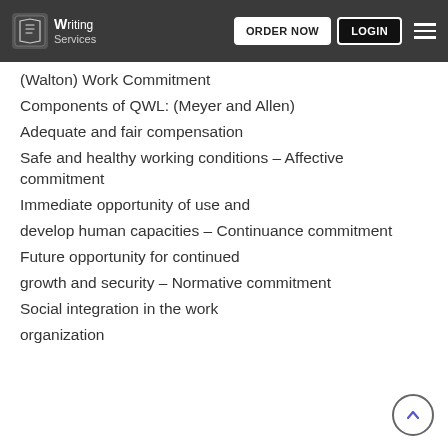Writing Services | ORDER NOW | LOGIN
(Walton) Work Commitment
Components of QWL: (Meyer and Allen)
Adequate and fair compensation
Safe and healthy working conditions – Affective commitment
Immediate opportunity of use and
develop human capacities – Continuance commitment
Future opportunity for continued
growth and security – Normative commitment
Social integration in the work
organization